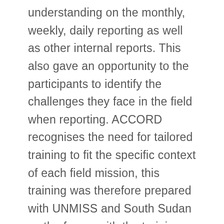understanding on the monthly, weekly, daily reporting as well as other internal reports. This also gave an opportunity to the participants to identify the challenges they face in the field when reporting. ACCORD recognises the need for tailored training to fit the specific context of each field mission, this training was therefore prepared with UNMISS and South Sudan as the focus, with the training materials also tailored for this particular training. This training which formed a basis for other similar trainings was in line with the TfP/ACCORD's strategic goal of significantly improving the civilian capacity of African states, Regional Economic Communities (RECs), the African Union (AU) and United Nations (UN) to